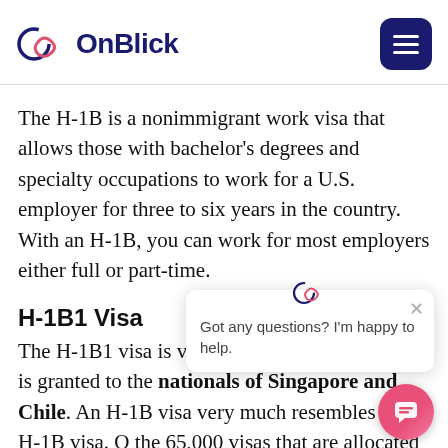OnBlick
The H-1B is a nonimmigrant work visa that allows those with bachelor's degrees and specialty occupations to work for a U.S. employer for three to six years in the country. With an H-1B, you can work for most employers either full or part-time.
H-1B1 Visa
The H-1B1 visa is very similar to the H-1B except for the fact that it is granted to the nationals of Singapore and Chile. An H-1B1 visa very much resembles the H-1B visa. Of the 65,000 visas that are allocated to the H-1B